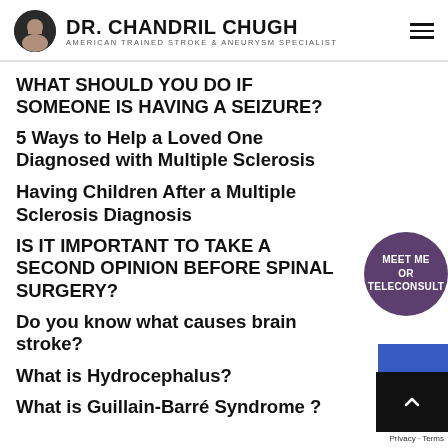DR. CHANDRIL CHUGH — AMERICAN TRAINED STROKE & ANEURYSM SPECIALIST
WHAT SHOULD YOU DO IF SOMEONE IS HAVING A SEIZURE?
5 Ways to Help a Loved One Diagnosed with Multiple Sclerosis
Having Children After a Multiple Sclerosis Diagnosis
IS IT IMPORTANT TO TAKE A SECOND OPINION BEFORE SPINAL SURGERY?
Do you know what causes brain stroke?
What is Hydrocephalus?
What is Guillain-Barré Syndrome ?